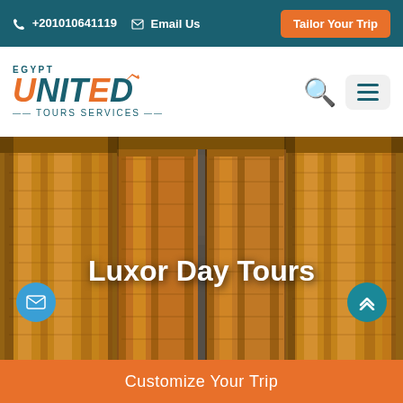+201010641119  Email Us  Tailor Your Trip
[Figure (logo): Egypt United Tours Services logo with airplane icon]
[Figure (photo): Upward view of ancient Egyptian stone columns with hieroglyphic carvings at Karnak Temple, Luxor]
Luxor Day Tours
Customize Your Trip